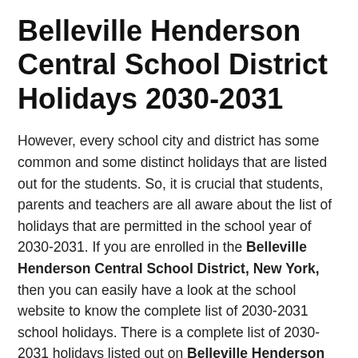Belleville Henderson Central School District Holidays 2030-2031
However, every school city and district has some common and some distinct holidays that are listed out for the students. So, it is crucial that students, parents and teachers are all aware about the list of holidays that are permitted in the school year of 2030-2031. If you are enrolled in the Belleville Henderson Central School District, New York, then you can easily have a look at the school website to know the complete list of 2030-2031 school holidays. There is a complete list of 2030-2031 holidays listed out on Belleville Henderson Central School District, Nyc, website that will help students and parents alike in settling out the complete year plan and making important decisions of joining any hobbies or